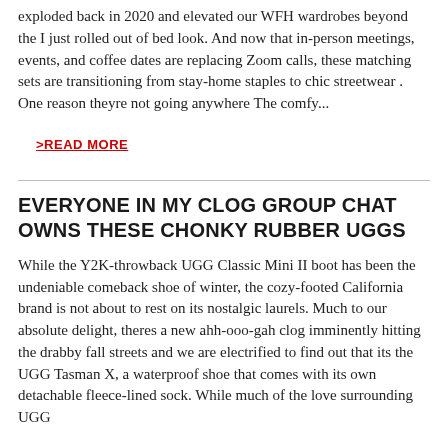exploded back in 2020 and elevated our WFH wardrobes beyond the I just rolled out of bed look. And now that in-person meetings, events, and coffee dates are replacing Zoom calls, these matching sets are transitioning from stay-home staples to chic streetwear . One reason theyre not going anywhere The comfy...
>READ MORE
EVERYONE IN MY CLOG GROUP CHAT OWNS THESE CHONKY RUBBER UGGS
While the Y2K-throwback UGG Classic Mini II boot has been the undeniable comeback shoe of winter, the cozy-footed California brand is not about to rest on its nostalgic laurels. Much to our absolute delight, theres a new ahh-ooo-gah clog imminently hitting the drabby fall streets and we are electrified to find out that its the UGG Tasman X, a waterproof shoe that comes with its own detachable fleece-lined sock. While much of the love surrounding UGG